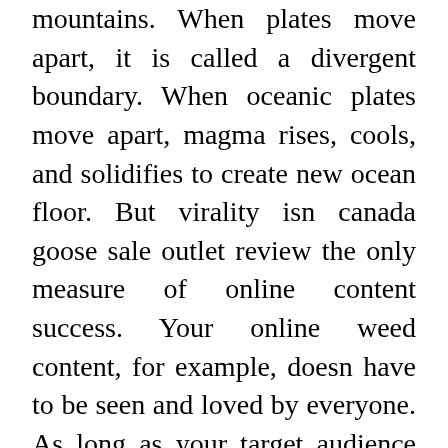mountains. When plates move apart, it is called a divergent boundary. When oceanic plates move apart, magma rises, cools, and solidifies to create new ocean floor. But virality isn canada goose sale outlet review the only measure of online content success. Your online weed content, for example, doesn have to be seen and loved by everyone. As long as your target audience responds positively canada goose outlet reviews to your content, you may not think of it as viral but you can consider it as a job well done.. cheap canada goose uk